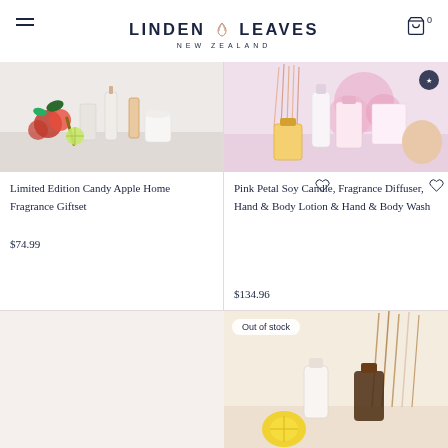[Figure (logo): Linden Leaves New Zealand logo with leaf/petal icon]
[Figure (photo): Limited Edition Candy Apple Home Fragrance Giftset product photo showing perfume bottles, candle, and berries on white background]
Limited Edition Candy Apple Home Fragrance Giftset
$74.99
[Figure (photo): Pink Petal Soy Candle, Fragrance Diffuser, Hand & Body Lotion & Hand & Body Wash product set photo with pink flowers]
Pink Petal Soy Candle, Fragrance Diffuser, Hand & Body Lotion & Hand & Body Wash
$134.96
[Figure (photo): Partial product image, bottom left, light beige background]
[Figure (photo): Out of stock product photo showing diffuser reeds and bottle on warm beige background]
Out of stock